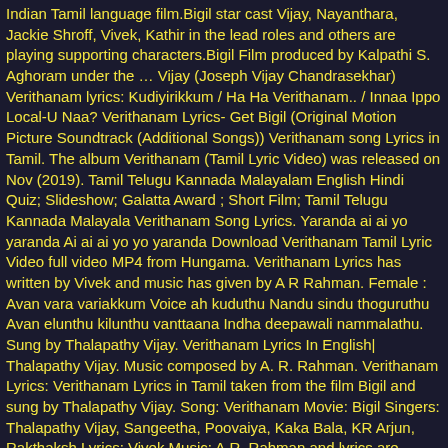Indian Tamil language film.Bigil star cast Vijay, Nayanthara, Jackie Shroff, Vivek, Kathir in the lead roles and others are playing supporting characters.Bigil Film produced by Kalpathi S. Aghoram under the … Vijay (Joseph Vijay Chandrasekhar) Verithanam lyrics: Kudiyirikkum / Ha Ha Verithanam.. / Innaa Ippo Local-U Naa? Verithanam Lyrics- Get Bigil (Original Motion Picture Soundtrack (Additional Songs)) Verithanam song Lyrics in Tamil. The album Verithanam (Tamil Lyric Video) was released on Nov (2019). Tamil Telugu Kannada Malayalam English Hindi Quiz; Slideshow; Galatta Award ; Short Film; Tamil Telugu Kannada Malayala Verithanam Song Lyrics. Yaranda ai ai yo yaranda Ai ai ai yo yo yaranda Download Verithanam Tamil Lyric Video full video MP4 from Hungama. Verithanam Lyrics has written by Vivek and music has given by A R Rahman. Female : Avan vara variakkum Voice ah kuduthu Nandu sindu thoguruthu Avan elunthu kilunthu vanttaana Indha deepawali nammalathu. Sung by Thalapathy Vijay. Verithanam Lyrics In English| Thalapathy Vijay. Music composed by A. R. Rahman. Verithanam Lyrics: Verithanam Lyrics in Tamil taken from the film Bigil and sung by Thalapathy Vijay. Song: Verithanam Movie: Bigil Singers: Thalapathy Vijay, Sangeetha, Poovaiya, Kaka Bala, KR Arjun, Rakthaksh Lyrics: Vivek Music: A.R. Rahman and lyrics are written by Vivek. Emmathamum Samathamaagum Tamil Varamaagum Tamil Uramaagum Indha Ulagaagum Engal Uravaagum Tamizhi... Valiyae Uyire Uravae Tamizhae.